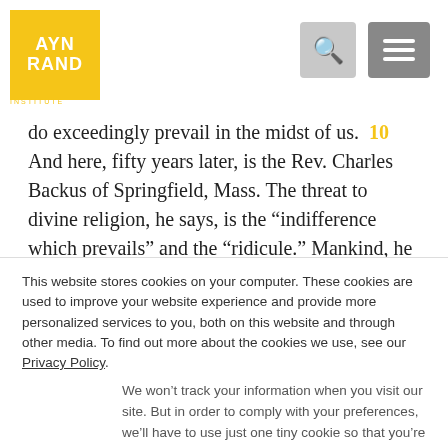AYN RAND INSTITUTE
do exceedingly prevail in the midst of us. 10 And here, fifty years later, is the Rev. Charles Backus of Springfield, Mass. The threat to divine religion, he says, is the “indifference which prevails” and the “ricule.” Mankind, he warns, is in “great danger of being laughed out of religion.” 11 This was true; these preachers were not alarmists; their description of the Enlightenment atmosphere is correct.
This website stores cookies on your computer. These cookies are used to improve your website experience and provide more personalized services to you, both on this website and through other media. To find out more about the cookies we use, see our Privacy Policy.
We won’t track your information when you visit our site. But in order to comply with your preferences, we’ll have to use just one tiny cookie so that you’re not asked to make this choice again.